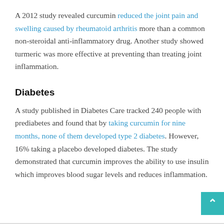A 2012 study revealed curcumin reduced the joint pain and swelling caused by rheumatoid arthritis more than a common non-steroidal anti-inflammatory drug. Another study showed turmeric was more effective at preventing than treating joint inflammation.
Diabetes
A study published in Diabetes Care tracked 240 people with prediabetes and found that by taking curcumin for nine months, none of them developed type 2 diabetes. However, 16% taking a placebo developed diabetes. The study demonstrated that curcumin improves the ability to use insulin which improves blood sugar levels and reduces inflammation.